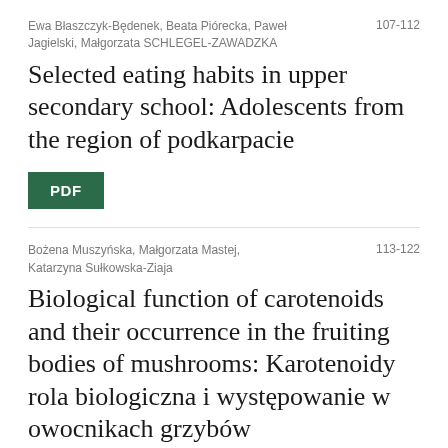Ewa Błaszczyk-Będenek, Beata Piórecka, Paweł Jagielski, Małgorzata SCHLEGEL-ZAWADZKA
107-112
Selected eating habits in upper secondary school: Adolescents from the region of podkarpacie
[Figure (other): Green PDF button]
Bożena Muszyńska, Małgorzata Mastej, Katarzyna Sułkowska-Ziaja
113-122
Biological function of carotenoids and their occurrence in the fruiting bodies of mushrooms: Karotenoidy rola biologiczna i występowanie w owocnikach grzybów
[Figure (other): Green PDF button]